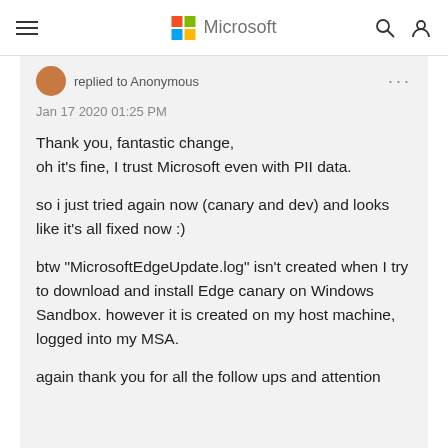Microsoft
replied to Anonymous
Jan 17 2020 01:25 PM
Thank you, fantastic change,
oh it's fine, I trust Microsoft even with PII data.
so i just tried again now (canary and dev) and looks like it's all fixed now :)
btw "MicrosoftEdgeUpdate.log" isn't created when I try to download and install Edge canary on Windows Sandbox. however it is created on my host machine, logged into my MSA.
again thank you for all the follow ups and attention